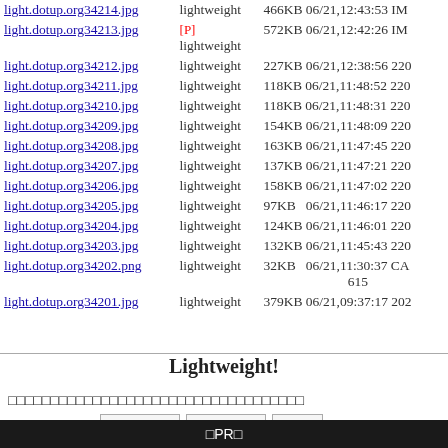| Filename | Tag | Size/Date/Info |
| --- | --- | --- |
| light.dotup.org34214.jpg | lightweight | 466KB 06/21,12:43:53 IM |
| light.dotup.org34213.jpg | [P] lightweight | 572KB 06/21,12:42:26 IM |
| light.dotup.org34212.jpg | lightweight | 227KB 06/21,12:38:56 220 |
| light.dotup.org34211.jpg | lightweight | 118KB 06/21,11:48:52 220 |
| light.dotup.org34210.jpg | lightweight | 118KB 06/21,11:48:31 220 |
| light.dotup.org34209.jpg | lightweight | 154KB 06/21,11:48:09 220 |
| light.dotup.org34208.jpg | lightweight | 163KB 06/21,11:47:45 220 |
| light.dotup.org34207.jpg | lightweight | 137KB 06/21,11:47:21 220 |
| light.dotup.org34206.jpg | lightweight | 158KB 06/21,11:47:02 220 |
| light.dotup.org34205.jpg | lightweight | 97KB  06/21,11:46:17 220 |
| light.dotup.org34204.jpg | lightweight | 124KB 06/21,11:46:01 220 |
| light.dotup.org34203.jpg | lightweight | 132KB 06/21,11:45:43 220 |
| light.dotup.org34202.png | lightweight | 32KB  06/21,11:30:37 CA 615 |
| light.dotup.org34201.jpg | lightweight | 379KB 06/21,09:37:17 202 |
Lightweight!
□□□□□□□□□□□□□□□□□□□□□□□□□□□□□□□□□□□
□PR□